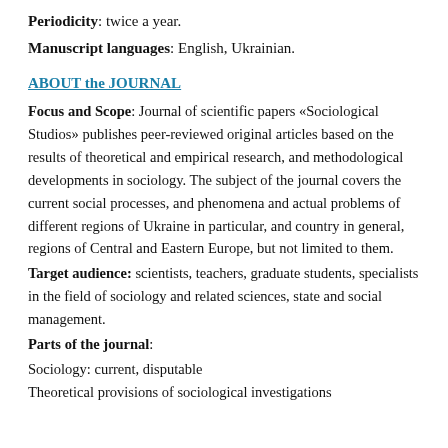Periodicity: twice a year.
Manuscript languages: English, Ukrainian.
ABOUT the JOURNAL
Focus and Scope: Journal of scientific papers «Sociological Studios» publishes peer-reviewed original articles based on the results of theoretical and empirical research, and methodological developments in sociology. The subject of the journal covers the current social processes, and phenomena and actual problems of different regions of Ukraine in particular, and country in general, regions of Central and Eastern Europe, but not limited to them.
Target audience: scientists, teachers, graduate students, specialists in the field of sociology and related sciences, state and social management.
Parts of the journal:
Sociology: current, disputable
Theoretical provisions of sociological investigations